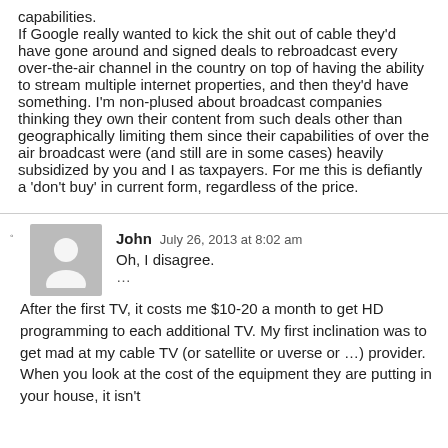capabilities.
If Google really wanted to kick the shit out of cable they'd have gone around and signed deals to rebroadcast every over-the-air channel in the country on top of having the ability to stream multiple internet properties, and then they'd have something. I'm non-plused about broadcast companies thinking they own their content from such deals other than geographically limiting them since their capabilities of over the air broadcast were (and still are in some cases) heavily subsidized by you and I as taxpayers. For me this is defiantly a 'don't buy' in current form, regardless of the price.
John   July 26, 2013 at 8:02 am
Oh, I disagree.
...
After the first TV, it costs me $10-20 a month to get HD programming to each additional TV. My first inclination was to get mad at my cable TV (or satellite or uverse or …) provider. When you look at the cost of the equipment they are putting in your house, it isn't